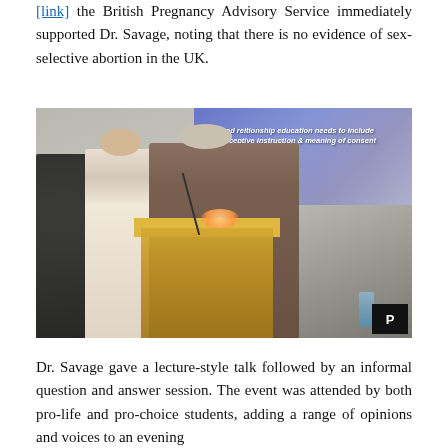the British Pregnancy Advisory Service immediately supported Dr. Savage, noting that there is no evidence of sex-selective abortion in the UK.
[Figure (photo): A speaker (Dr. Savage) presenting at a podium during a lecture-style event. Behind her is a projected slide reading 'Sex and relationship education needs to include contraceptive instruction & meaning of consent'. Two other women are visible in the background. A small 'P' logo appears in the bottom-right corner of the photo.]
Dr. Savage gave a lecture-style talk followed by an informal question and answer session. The event was attended by both pro-life and pro-choice students, adding a range of opinions and voices to an evening